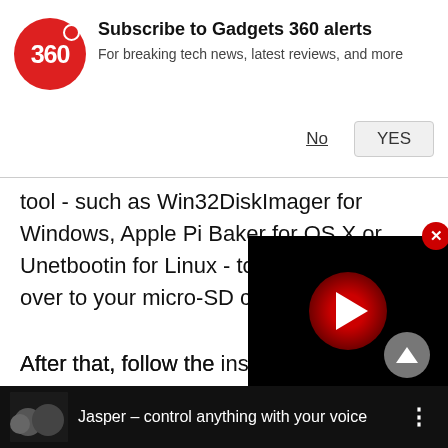[Figure (infographic): Gadgets 360 subscription notification banner with red circular logo showing '360', text 'Subscribe to Gadgets 360 alerts / For breaking tech news, latest reviews, and more', and No/YES buttons]
tool - such as Win32DiskImager for Windows, Apple Pi Baker for OS X or Unetbootin for Linux - to copy the files over to your micro-SD card.
After that, follow the instructions in the Install Jasper section to do the needful and then head over to the Configuration page. Choose from a (STT) engine to power your home a Pocketsphinx being the only choice about sending all your voice data to
[Figure (screenshot): Video overlay with black background, red circular play button with white triangle, and close X button]
[Figure (screenshot): Bottom video bar showing 'Jasper - control anything with your voice' with thumbnail of people and three-dot menu]
Jasper – control anything with your voice